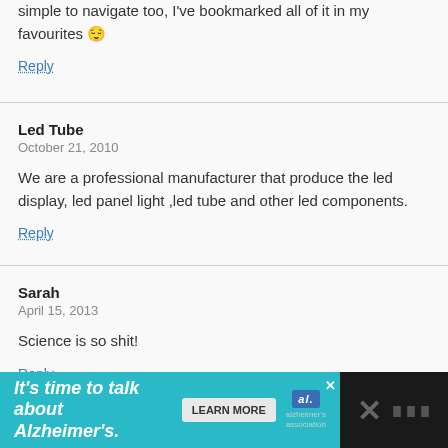simple to navigate too, I’ve bookmarked all of it in my favourites 😌
Reply
Led Tube
October 21, 2010
We are a professional manufacturer that produce the led display, led panel light ,led tube and other led components.
Reply
Sarah
April 15, 2013
Science is so shit!
Reply
[Figure (infographic): Advertisement banner: 'It's time to talk about Alzheimer's.' with a LEARN MORE button and Alzheimer's Association logo on a teal/dark background]